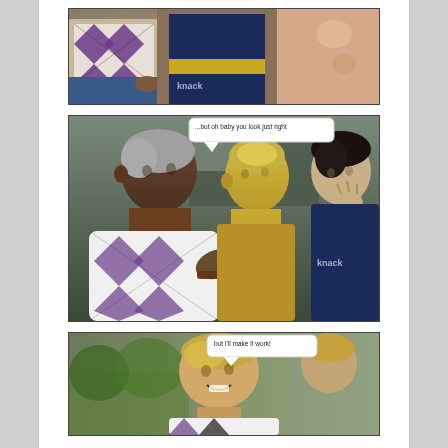[Figure (illustration): Top comic panel: 3D rendered comic scene showing torsos of characters - one in a purple/white argyle vest and blue shorts, one in a navy/yellow crop top with a yellow belt, and one showing a pink/peach bare torso. Indoor setting.]
[Figure (illustration): Middle comic panel: 3D rendered comic scene showing three characters in close interaction. Left character has grey/silver hair and wears a white and purple/black argyle shirt. Center character is a gold-skinned figure facing left. Right character is a dark-haired figure in a navy top. Speech bubble reads: '...but oh baby you look just right']
[Figure (illustration): Bottom comic panel (partially visible): 3D rendered comic scene showing a smiling male character in a white/black argyle shirt. Speech bubble reads: 'but I'll make it work!']